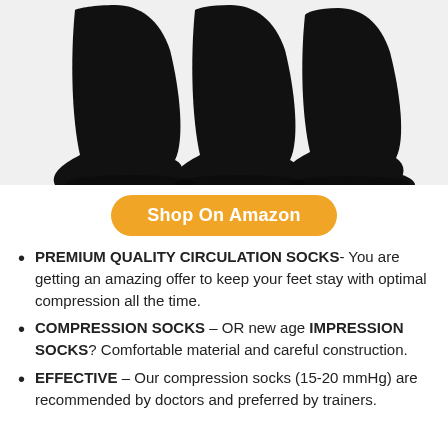[Figure (photo): Three black compression/circulation socks shown from the side against a white background]
Shop On Amazon
PREMIUM QUALITY CIRCULATION SOCKS- You are getting an amazing offer to keep your feet stay with optimal compression all the time.
COMPRESSION SOCKS – OR new age IMPRESSION SOCKS? Comfortable material and careful construction.
EFFECTIVE – Our compression socks (15-20 mmHg) are recommended by doctors and preferred by trainers.